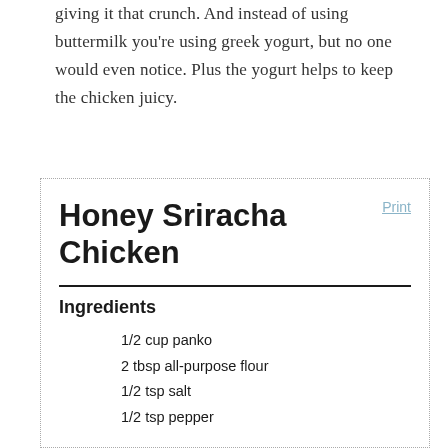giving it that crunch.  And instead of using buttermilk you're using greek yogurt, but no one would even notice.  Plus the yogurt helps to keep the chicken juicy.
Honey Sriracha Chicken
Print
Ingredients
1/2 cup panko
2 tbsp all-purpose flour
1/2 tsp salt
1/2 tsp pepper